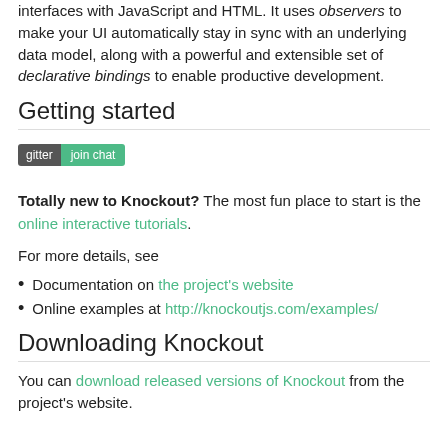interfaces with JavaScript and HTML. It uses observers to make your UI automatically stay in sync with an underlying data model, along with a powerful and extensible set of declarative bindings to enable productive development.
Getting started
[Figure (other): Gitter join chat badge button]
Totally new to Knockout? The most fun place to start is the online interactive tutorials.
For more details, see
Documentation on the project's website
Online examples at http://knockoutjs.com/examples/
Downloading Knockout
You can download released versions of Knockout from the project's website.